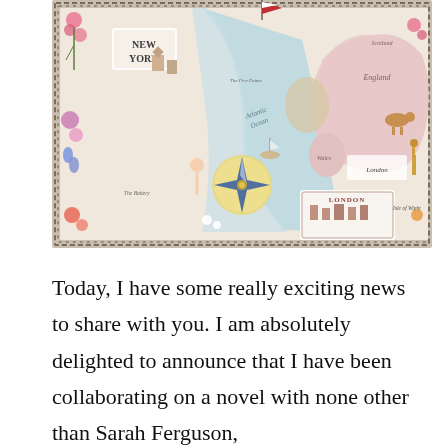[Figure (illustration): Illustrated decorative map showing New York on the left and Britain/England/London/Wales on the right, connected by the Atlantic Ocean. The map features a compass rose in the center bottom, floral borders with pink roses and blue bells, small illustrations of landmarks and animals, and ornate chain-link border around the entire image.]
Today, I have some really exciting news to share with you. I am absolutely delighted to announce that I have been collaborating on a novel with none other than Sarah Ferguson,